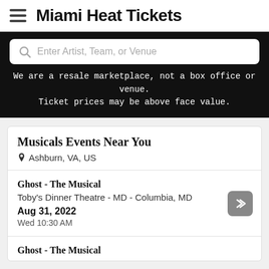Miami Heat Tickets
Enter Artist, Team, or Venue
We are a resale marketplace, not a box office or venue. Ticket prices may be above face value.
Musicals Events Near You
Ashburn, VA, US
Ghost - The Musical
Toby's Dinner Theatre - MD - Columbia, MD
Aug 31, 2022
Wed 10:30 AM
Ghost - The Musical